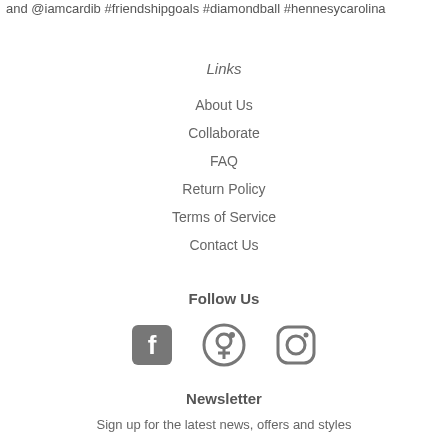and @iamcardib #friendshipgoals #diamondball #hennesycarolina
Links
About Us
Collaborate
FAQ
Return Policy
Terms of Service
Contact Us
Follow Us
[Figure (illustration): Social media icons: Facebook, Pinterest, Instagram]
Newsletter
Sign up for the latest news, offers and styles